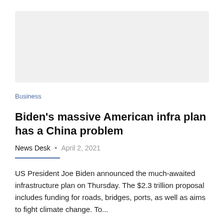[Figure (photo): Light gray placeholder image area at top of article]
Business
Biden's massive American infra plan has a China problem
News Desk  •  April 2, 2021
US President Joe Biden announced the much-awaited infrastructure plan on Thursday. The $2.3 trillion proposal includes funding for roads, bridges, ports, as well as aims to fight climate change. To...